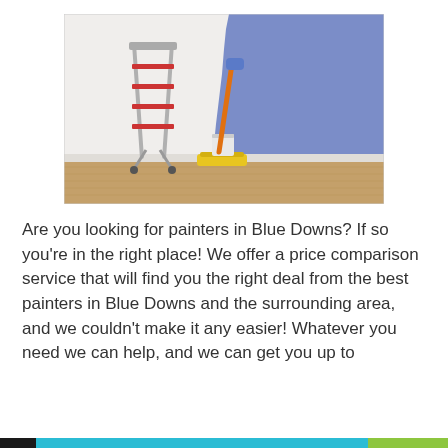[Figure (photo): A room being painted blue. A red step ladder stands on the left on a wooden floor. An orange-handled paint roller with blue paint bucket sits in the center. The right half of the white wall is painted cornflower blue.]
Are you looking for painters in Blue Downs? If so you're in the right place! We offer a price comparison service that will find you the right deal from the best painters in Blue Downs and the surrounding area, and we couldn't make it any easier! Whatever you need we can help, and we can get you up to